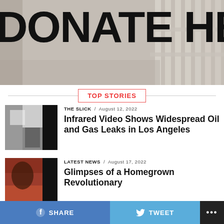[Figure (photo): Banner image with large bold text 'DONATE HERE' overlaid on a faded outdoor photograph showing a fence and pavement area]
TOP STORIES
THE SLICK / August 12, 2022
Infrared Video Shows Widespread Oil and Gas Leaks in Los Angeles
[Figure (photo): Black and white infrared photograph showing buildings]
LATEST NEWS / August 17, 2022
Glimpses of a Homegrown Revolutionary
[Figure (photo): Photo with a person's face and crowd scene with reddish tones]
SHARE   TWEET   ...